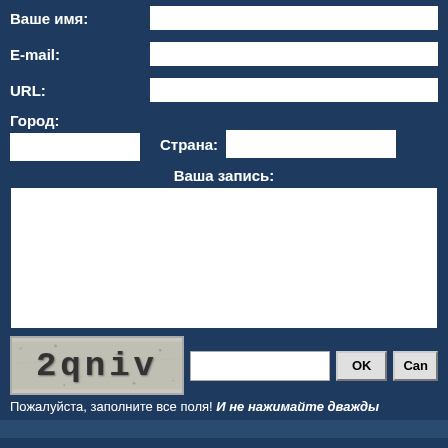Ваше имя:
E-mail:
URL:
Город:
Страна:
Ваша запись:
[Figure (screenshot): CAPTCHA image showing '2qniv' text with noise]
Пожалуйста, заполните все поля! И не нажимайте дважды...
Pages: 1 2 3 4 5 6 7 8 9 10 11 12 13 14 15 16 17 18 19 ... 20